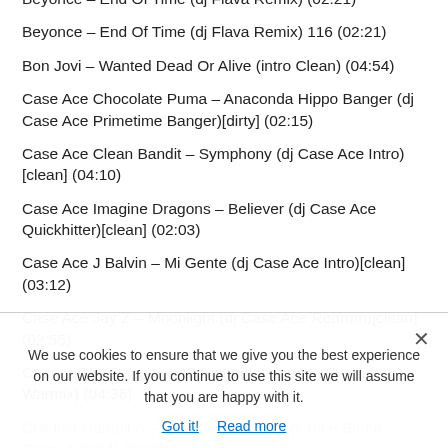Beyonce – End Of Time (dj Flava Remix) (02:21)
Beyonce – End Of Time (dj Flava Remix) 116 (02:21)
Bon Jovi – Wanted Dead Or Alive (intro Clean) (04:54)
Case Ace Chocolate Puma – Anaconda Hippo Banger (dj Case Ace Primetime Banger)[dirty] (02:15)
Case Ace Clean Bandit – Symphony (dj Case Ace Intro)[clean] (04:10)
Case Ace Imagine Dragons – Believer (dj Case Ace Quickhitter)[clean] (02:03)
Case Ace J Balvin – Mi Gente (dj Case Ace Intro)[clean] (03:12)
Case Ace Jay Z – Moonlight (dj Case Ace Redrum)[clean] (02:55)
Chance The Rapper – All Night (kaytranada Extended Warmix) (04:36)
Childish Gambino – Redbone (dj Bike Vs Bike Stone Down 1 (0:94) (03:28)
We use cookies to ensure that we give you the best experience on our website. If you continue to use this site we will assume that you are happy with it.